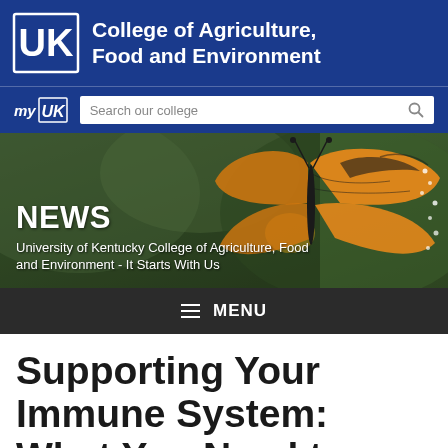UK College of Agriculture, Food and Environment
[Figure (screenshot): University of Kentucky College of Agriculture, Food and Environment website header with UK logo, myUK navigation, search bar, butterfly hero image, NEWS banner, and article title 'Supporting Your Immune System: What You Need to Know']
Supporting Your Immune System: What You Need to Know